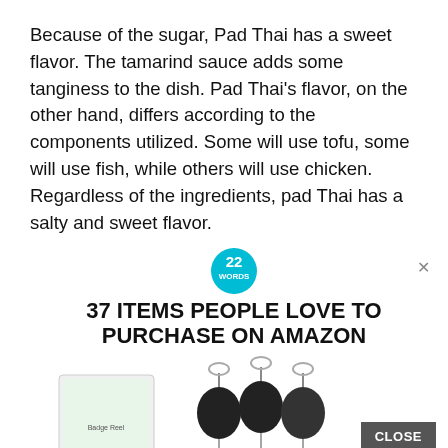Because of the sugar, Pad Thai has a sweet flavor. The tamarind sauce adds some tanginess to the dish. Pad Thai's flavor, on the other hand, differs according to the components utilized. Some will use tofu, some will use fish, while others will use chicken. Regardless of the ingredients, pad Thai has a salty and sweet flavor.
[Figure (infographic): Advertisement banner for '22 Words' website showing '37 Items People Love to Purchase on Amazon' with a product image of badge reels/retractable key holders in black, green, blue, and white colors, with a CLOSE button and an X dismiss button.]